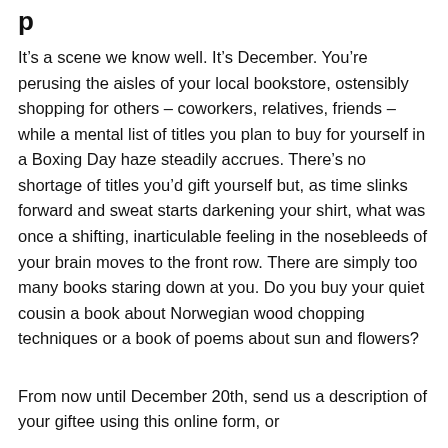p
It’s a scene we know well. It’s December. You’re perusing the aisles of your local bookstore, ostensibly shopping for others – coworkers, relatives, friends – while a mental list of titles you plan to buy for yourself in a Boxing Day haze steadily accrues. There’s no shortage of titles you’d gift yourself but, as time slinks forward and sweat starts darkening your shirt, what was once a shifting, inarticulable feeling in the nosebleeds of your brain moves to the front row. There are simply too many books staring down at you. Do you buy your quiet cousin a book about Norwegian wood chopping techniques or a book of poems about sun and flowers?
From now until December 20th, send us a description of your giftee using this online form, or